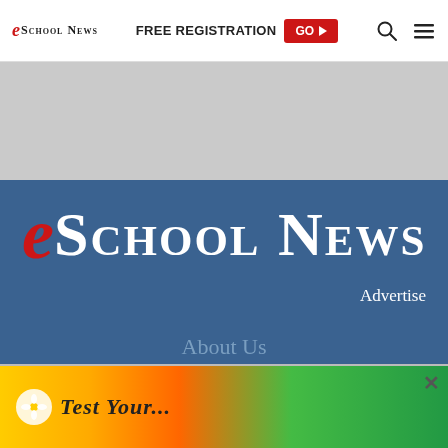eSchool News — FREE REGISTRATION GO ▶ [search] [menu]
[Figure (other): Gray advertisement banner area below header]
[Figure (logo): eSchool News large white serif logo with red italic e on blue background]
Advertise
About Us
About eSchool News
Privacy Policy
[Figure (illustration): Advertisement popup banner at bottom with colorful background and cursive text partially visible, with × close button]